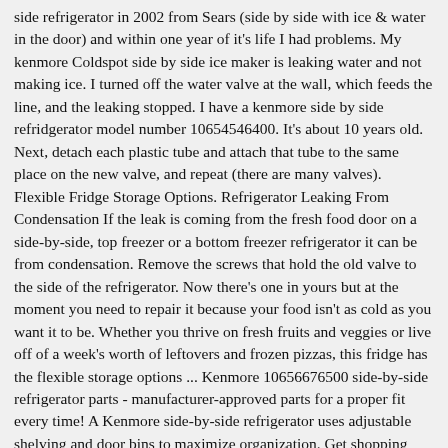side refrigerator in 2002 from Sears (side by side with ice & water in the door) and within one year of it's life I had problems. My kenmore Coldspot side by side ice maker is leaking water and not making ice. I turned off the water valve at the wall, which feeds the line, and the leaking stopped. I have a kenmore side by side refridgerator model number 10654546400. It's about 10 years old. Next, detach each plastic tube and attach that tube to the same place on the new valve, and repeat (there are many valves). Flexible Fridge Storage Options. Refrigerator Leaking From Condensation If the leak is coming from the fresh food door on a side-by-side, top freezer or a bottom freezer refrigerator it can be from condensation. Remove the screws that hold the old valve to the side of the refrigerator. Now there's one in yours but at the moment you need to repair it because your food isn't as cold as you want it to be. Whether you thrive on fresh fruits and veggies or live off of a week's worth of leftovers and frozen pizzas, this fridge has the flexible storage options ... Kenmore 10656676500 side-by-side refrigerator parts - manufacturer-approved parts for a proper fit every time! A Kenmore side-by-side refrigerator uses adjustable shelving and door bins to maximize organization. Get shopping advice from experts, friends and the community! At only 34" wide, the refrigerator/freezer combo can fit in narrow spaces and provides plenty of interior space for storing snacks, fresh foods, leftovers, and